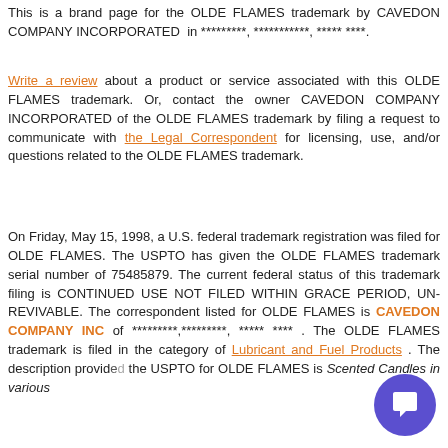This is a brand page for the OLDE FLAMES trademark by CAVEDON COMPANY INCORPORATED in *********, ***********, ***** ****.
Write a review about a product or service associated with this OLDE FLAMES trademark. Or, contact the owner CAVEDON COMPANY INCORPORATED of the OLDE FLAMES trademark by filing a request to communicate with the Legal Correspondent for licensing, use, and/or questions related to the OLDE FLAMES trademark.
On Friday, May 15, 1998, a U.S. federal trademark registration was filed for OLDE FLAMES. The USPTO has given the OLDE FLAMES trademark serial number of 75485879. The current federal status of this trademark filing is CONTINUED USE NOT FILED WITHIN GRACE PERIOD, UN-REVIVABLE. The correspondent listed for OLDE FLAMES is CAVEDON COMPANY INC of *********,*********, ***** **** . The OLDE FLAMES trademark is filed in the category of Lubricant and Fuel Products . The description provided the USPTO for OLDE FLAMES is Scented Candles in various